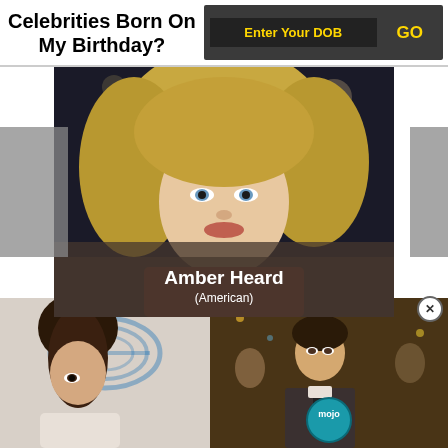Celebrities Born On My Birthday?
Enter Your DOB
GO
[Figure (photo): Photo of Amber Heard, a blonde woman in a red dress, with overlay showing name 'Amber Heard (American)']
Amber Heard (American)
[Figure (photo): Two images side by side: left shows a brunette woman in front of an AT&T logo background, right shows a man in a suit from a movie scene with WatchMojo logo overlay]